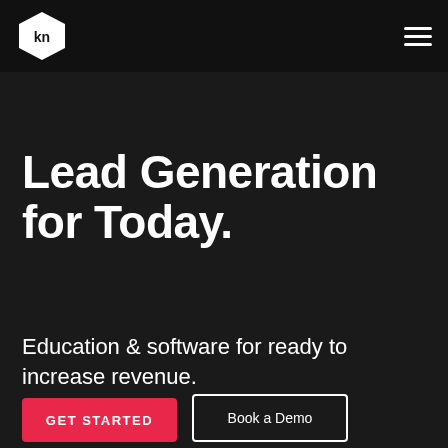[Figure (logo): Hexagon-shaped logo with 'kn' text in white on dark background, top navigation bar with hamburger menu icon]
Lead Generation for Today.
Education & software for ready to increase revenue.
GET STARTED
Book a Demo